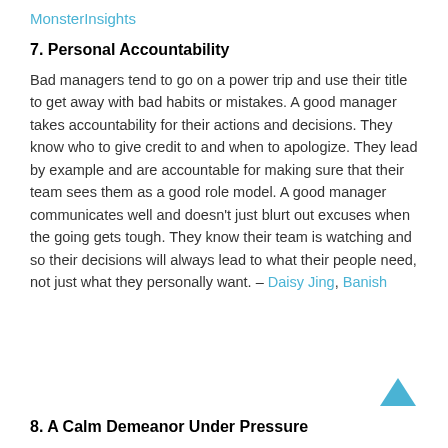MonsterInsights
7. Personal Accountability
Bad managers tend to go on a power trip and use their title to get away with bad habits or mistakes. A good manager takes accountability for their actions and decisions. They know who to give credit to and when to apologize. They lead by example and are accountable for making sure that their team sees them as a good role model. A good manager communicates well and doesn’t just blurt out excuses when the going gets tough. They know their team is watching and so their decisions will always lead to what their people need, not just what they personally want. – Daisy Jing, Banish
8. A Calm Demeanor Under Pressure